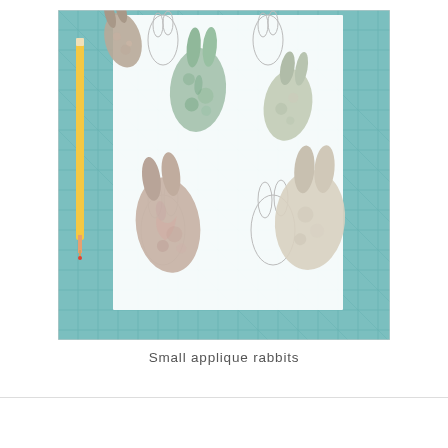[Figure (photo): Photograph of small fabric applique rabbits cut from floral patterned fabric in various colors, arranged on a white paper template sheet with rabbit outlines, placed on a teal/blue cutting mat. A yellow pencil is visible on the left side.]
Small applique rabbits